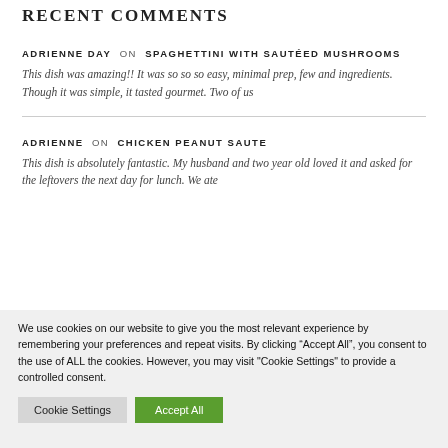RECENT COMMENTS
ADRIENNE DAY on SPAGHETTINI WITH SAUTÉED MUSHROOMS
This dish was amazing!! It was so so so easy, minimal prep, few and ingredients. Though it was simple, it tasted gourmet. Two of us
ADRIENNE on CHICKEN PEANUT SAUTE
This dish is absolutely fantastic. My husband and two year old loved it and asked for the leftovers the next day for lunch. We ate
We use cookies on our website to give you the most relevant experience by remembering your preferences and repeat visits. By clicking “Accept All”, you consent to the use of ALL the cookies. However, you may visit "Cookie Settings" to provide a controlled consent.